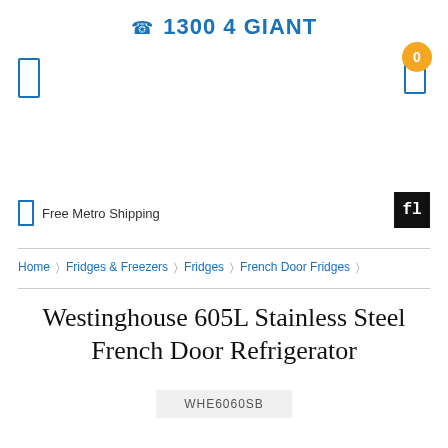☎ 1300 4 GIANT
Free Metro Shipping
Home › Fridges & Freezers › Fridges › French Door Fridges ›
Westinghouse 605L Stainless Steel French Door Refrigerator
WHE6060SB